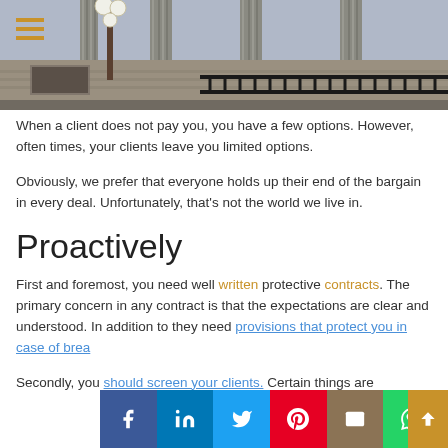[Figure (photo): Photo of a neoclassical courthouse exterior with ornate columns, a decorative lamp post, and iron railings. A hamburger menu icon in gold/orange is visible in the top left corner.]
When a client does not pay you, you have a few options. However, often times, your clients leave you limited options.
Obviously, we prefer that everyone holds up their end of the bargain in every deal. Unfortunately, that's not the world we live in.
Proactively
First and foremost, you need well written protective contracts. The primary concern in any contract is that the expectations are clear and understood. In addition to they need provisions that protect you in case of brea
Secondly, you should screen your clients. Certain things are